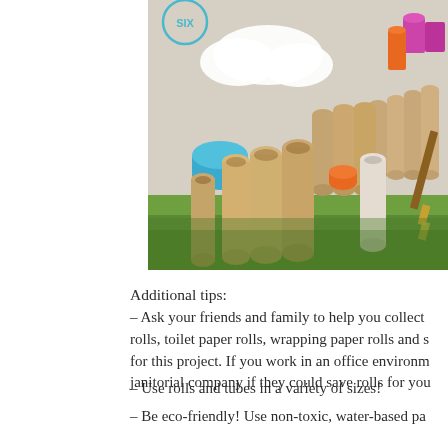[Figure (photo): Photograph of many cardboard toilet paper and paper towel tubes/rolls standing upright on green grass, with colorful paint containers (blue, orange, pink/magenta) mixed among them. A paintbrush is visible on the right side. There is a white cloud-like paper shape at the top. A circular badge with 'SIX' is visible at the top left corner.]
Additional tips:
– Ask your friends and family to help you collect rolls, toilet paper rolls, wrapping paper rolls and s for this project. If you work in an office environm janitorial company if they could save rolls for you
– Use rolls and tubes in a variety of sizes!
– Be eco-friendly! Use non-toxic, water-based pa